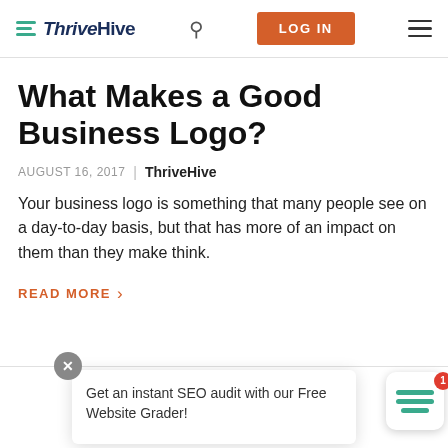ThriveHive — LOG IN
What Makes a Good Business Logo?
AUGUST 16, 2017 | ThriveHive
Your business logo is something that many people see on a day-to-day basis, but that has more of an impact on them than they make think.
READ MORE >
Get an instant SEO audit with our Free Website Grader!